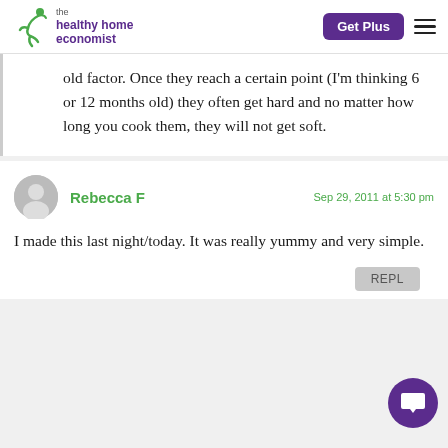the healthy home economist | Get Plus
old factor. Once they reach a certain point (I'm thinking 6 or 12 months old) they often get hard and no matter how long you cook them, they will not get soft.
Rebecca F — Sep 29, 2011 at 5:30 pm
I made this last night/today. It was really yummy and very simple.